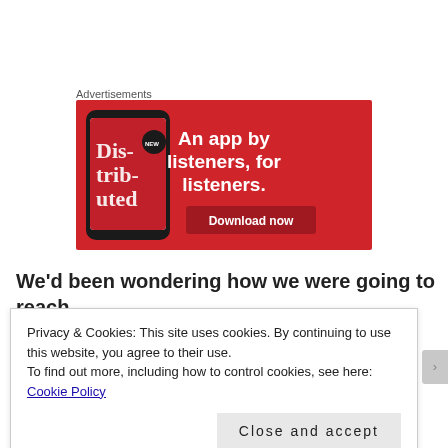Advertisements
[Figure (illustration): Red advertisement banner for a podcast app showing a smartphone with 'Distributed' podcast cover, text 'An app by listeners, for listeners.' and a 'Download now' button]
We'd been wondering how we were going to reach
Privacy & Cookies: This site uses cookies. By continuing to use this website, you agree to their use.
To find out more, including how to control cookies, see here: Cookie Policy
Close and accept